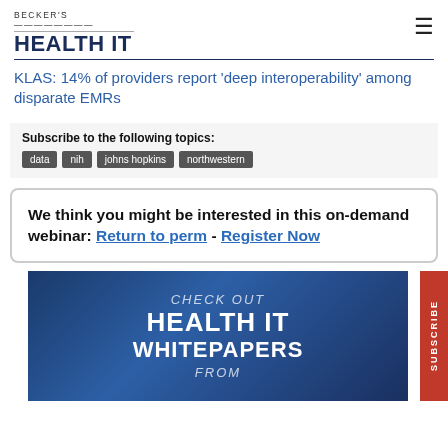BECKER'S HEALTH IT
KLAS: 14% of providers report 'deep interoperability' among disparate EMRs
Subscribe to the following topics:
data
nih
johns hopkins
northwestern
We think you might be interested in this on-demand webinar: Return to perm - Register Now
[Figure (illustration): Banner advertisement for Becker's Health IT Whitepapers showing text: CHECK OUT HEALTH IT WHITEPAPERS FROM on a dark blue background with city skyline silhouette, with a red Subscribe tab on the right side]